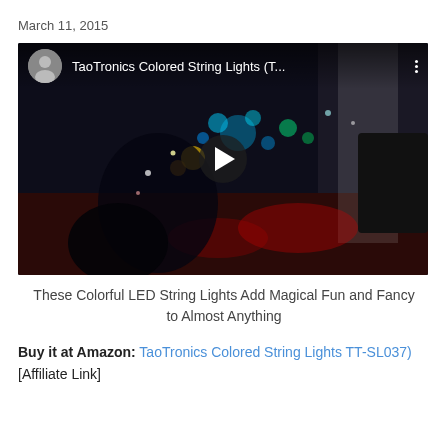March 11, 2015
[Figure (screenshot): YouTube video thumbnail showing TaoTronics Colored String Lights with colorful LED lights in a dark room. The video overlay bar shows a user avatar, the title 'TaoTronics Colored String Lights (T...', a three-dot menu, and a play button in the center.]
These Colorful LED String Lights Add Magical Fun and Fancy to Almost Anything
Buy it at Amazon: TaoTronics Colored String Lights TT-SL037) [Affiliate Link]